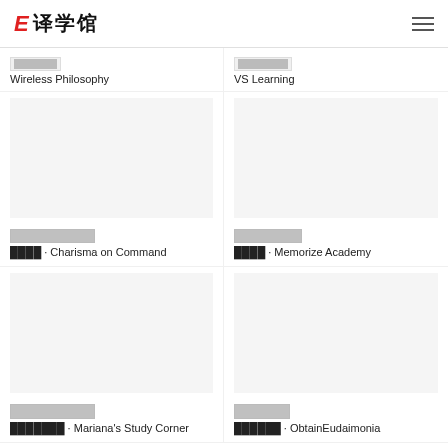译学馆
██████ · Wireless Philosophy
███████ · VS Learning
██████████████
████ · Charisma on Command
███████████
████ · Memorize Academy
██████████████
███████ · Mariana's Study Corner
████·██·██
██████ · ObtainEudaimonia